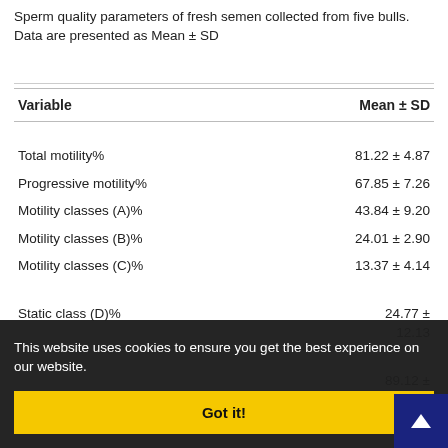Sperm quality parameters of fresh semen collected from five bulls. Data are presented as Mean ± SD
| Variable | Mean ± SD |
| --- | --- |
| Total motility% | 81.22 ± 4.87 |
| Progressive motility% | 67.85 ± 7.26 |
| Motility classes (A)% | 43.84 ± 9.20 |
| Motility classes (B)% | 24.01 ± 2.90 |
| Motility classes (C)% | 13.37 ± 4.14 |
| Static class (D)% | 24.77 ± 12.13 |
|  | 89.12 ± 27.67 |
|  | 39.22 ± 4.93 |
|  | 54.57 ± 13.35 |
|  | 42.16 ± 10.67 |
| (ALH) μm | 6.30 ± 1.6 |
This website uses cookies to ensure you get the best experience on our website.
Got it!